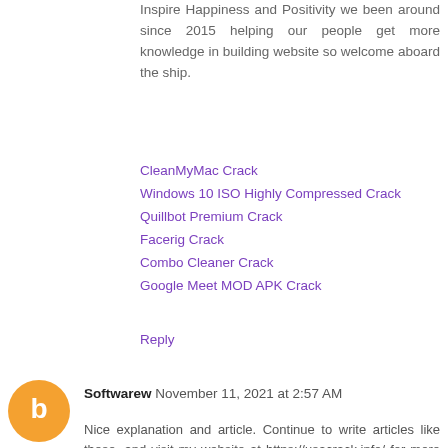Inspire Happiness and Positivity we been around since 2015 helping our people get more knowledge in building website so welcome aboard the ship.
CleanMyMac Crack
Windows 10 ISO Highly Compressed Crack
Quillbot Premium Crack
Facerig Crack
Combo Cleaner Crack
Google Meet MOD APK Crack
Reply
Softwarew November 11, 2021 at 2:57 AM
Nice explanation and article. Continue to write articles like these, and visit my website at https://usacrack.info/ for more information.
Express VPN Crack
Teorex Inpaint Crack
IPVanish VPN Crack